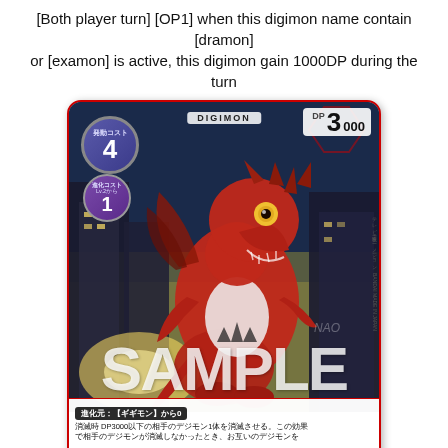[Both player turn] [OP1] when this digimon name contain [dramon] or [examon] is active, this digimon gain 1000DP during the turn
[Figure (illustration): Digimon trading card showing a red dragon-type Digimon (Guilmon) standing in a city background. Card has DIGIMON label at top, play cost badge of 4 (purple circle, top left), evolution cost badge of 1 with Lv.2 notation (purple circle, left), DP value of 3000 (top right), SAMPLE watermark across center, and Japanese text at bottom describing card effects. Vertical Japanese text on right side reads: TV・東映アニメーション BANDAI MADE IN JAPAN.]